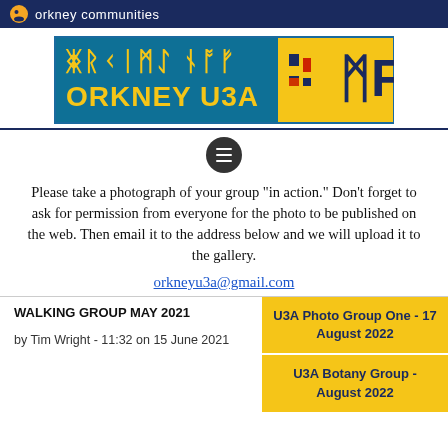orkney communities
[Figure (logo): Orkney U3A logo with runic-style text and decorative icons in blue and yellow]
Please take a photograph of your group "in action." Don't forget to ask for permission from everyone for the photo to be published on the web. Then email it to the address below and we will upload it to the gallery.
orkneyu3a@gmail.com
WALKING GROUP MAY 2021
by Tim Wright - 11:32 on 15 June 2021
U3A Photo Group One - 17 August 2022
U3A Botany Group - August 2022